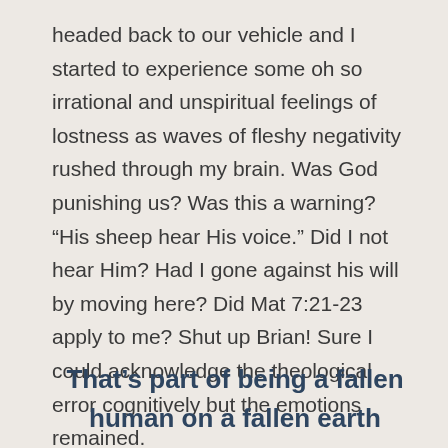headed back to our vehicle and I started to experience some oh so irrational and unspiritual feelings of lostness as waves of fleshy negativity rushed through my brain.  Was God punishing us?  Was this a warning? “His sheep hear His voice.” Did I not hear Him?  Had I gone against his will by moving here?  Did Mat 7:21-23 apply to me? Shut up Brian! Sure I could acknowledge the theological error cognitively but the emotions remained.
That’s part of being a fallen human on a fallen earth